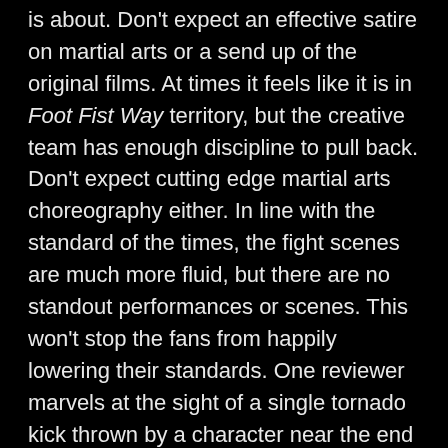is about. Don't expect an effective satire on martial arts or a send up of the original films. At times it feels like it is in Foot Fist Way territory, but the creative team has enough discipline to pull back. Don't expect cutting edge martial arts choreography either. In line with the standard of the times, the fight scenes are much more fluid, but there are no standout performances or scenes. This won't stop the fans from happily lowering their standards. One reviewer marvels at the sight of a single tornado kick thrown by a character near the end credits. We live in a time when Jonathan Tuhu has knocked out an opponent in a live Muay Thai match with 540 degree spinning kick! There is undeniable corniness throughout the series, which is unashamed but not always ironic. Not only is the story worked around a nostalgic scaffold, featuring scenes of alcoholic infused pathos and the constant presence of cars, but virtually every punchline a direct homage to the films. We also regularly get flashbacks to the original footage (albeit sometimes with previously